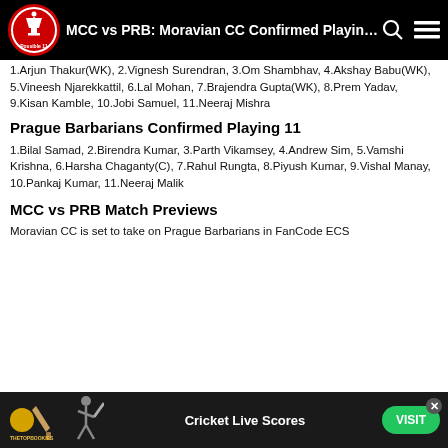MCC vs PRB: Moravian CC Confirmed Playing 11 [logo: Possible 11]
1.Arjun Thakur(WK), 2.Vignesh Surendran, 3.Om Shambhav, 4.Akshay Babu(WK), 5.Vineesh Njarekkattil, 6.Lal Mohan, 7.Brajendra Gupta(WK), 8.Prem Yadav, 9.Kisan Kamble, 10.Jobi Samuel, 11.Neeraj Mishra
Prague Barbarians Confirmed Playing 11
1.Bilal Samad, 2.Birendra Kumar, 3.Parth Vikamsey, 4.Andrew Sim, 5.Vamshi Krishna, 6.Harsha Chaganty(C), 7.Rahul Rungta, 8.Piyush Kumar, 9.Vishal Manay, 10.Pankaj Kumar, 11.Neeraj Malik
MCC vs PRB Match Previews
Moravian CC is set to take on Prague Barbarians in FanCode ECS
[Figure (infographic): Advertisement banner for TheTopBookies Cricket Live Scores with a VISIT button]